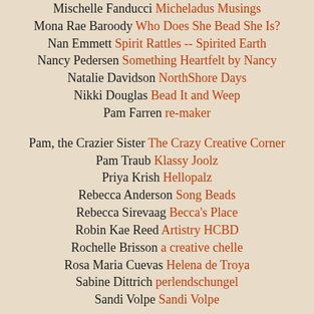Mischelle Fanducci  Micheladus Musings
Mona Rae Baroody  Who Does She Bead She Is?
Nan Emmett  Spirit Rattles -- Spirited Earth
Nancy Pedersen  Something Heartfelt by Nancy
Natalie Davidson  NorthShore Days
Nikki Douglas  Bead It and Weep
Pam Farren  re-maker
Pam, the Crazier Sister  The Crazy Creative Corner
Pam Traub  Klassy Joolz
Priya Krish  Hellopalz
Rebecca Anderson  Song Beads
Rebecca Sirevaag  Becca's Place
Robin Kae Reed  Artistry HCBD
Rochelle Brisson  a creative chelle
Rosa Maria Cuevas  Helena de Troya
Sabine Dittrich  perlendschungel
Sandi Volpe  Sandi Volpe
Sandra McGriff  Creative Chaos
Sarah Goode  Pookledo
Sarah Singer  String a Song of Sixpence
Serena Trent  All Things Made Jewelry
Shai Williams  Shaiha's Ramblings
Sharon Palac  Sharon's Jewelry Garden
Sharyl McMillian Nelson  Sharyl's Jewelry & Reflections